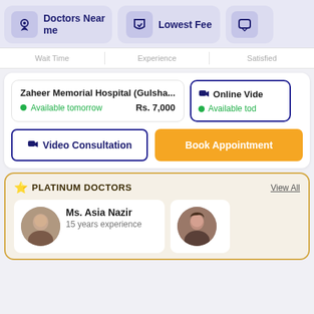[Figure (screenshot): Navigation buttons: Doctors Near me (with location pin icon), Lowest Fee (with shield icon), and a partial third button with chat icon]
Wait Time   Experience   Satisfied
Zaheer Memorial Hospital (Gulsha...  Available tomorrow  Rs. 7,000
Online Vide  Available tod
Video Consultation
Book Appointment
PLATINUM DOCTORS
View All
Ms. Asia Nazir
15 years experience